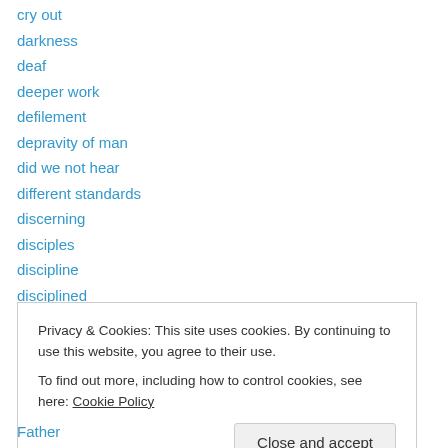cry out
darkness
deaf
deeper work
defilement
depravity of man
did we not hear
different standards
discerning
disciples
discipline
disciplined
distress
Privacy & Cookies: This site uses cookies. By continuing to use this website, you agree to their use. To find out more, including how to control cookies, see here: Cookie Policy
Father